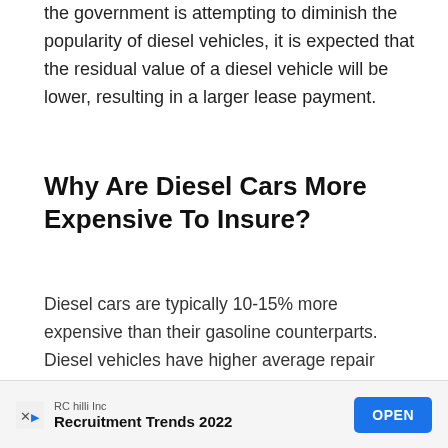the government is attempting to diminish the popularity of diesel vehicles, it is expected that the residual value of a diesel vehicle will be lower, resulting in a larger lease payment.
Why Are Diesel Cars More Expensive To Insure?
Diesel cars are typically 10-15% more expensive than their gasoline counterparts. Diesel vehicles have higher average repair costs, which affects insurance premiums. Furthermore, insurers are required to include overall replacement costs in your premiums. As diesel automobiles are more
[Figure (other): Advertisement banner for RC hilli Inc - Recruitment Trends 2022 with an OPEN button]